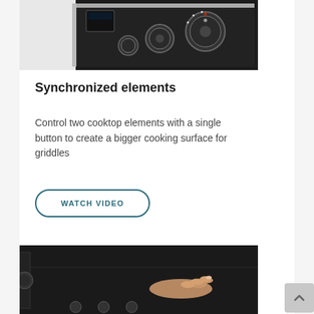[Figure (photo): Close-up of a dark black glass cooktop with silver/chrome control knobs and dials, white surface visible on left side]
Synchronized elements
Control two cooktop elements with a single button to create a bigger cooking surface for griddles
[Figure (other): WATCH VIDEO button with rounded border outline in teal/dark blue color]
[Figure (photo): A person's hand touching or controlling a dark black glass cooktop surface, with control knobs visible at bottom]